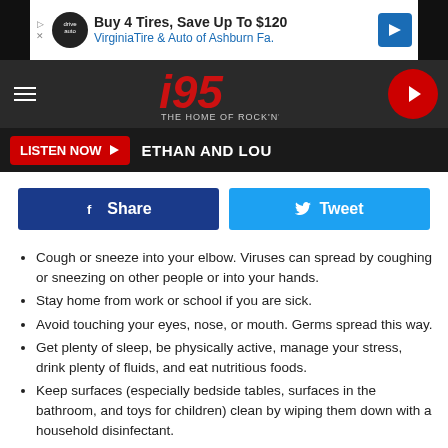[Figure (screenshot): Advertisement banner: Buy 4 Tires, Save Up To $120 - VirginiaTire & Auto of Ashburn Fa.]
[Figure (logo): i95 The Home of Rock & Roll radio station logo in navigation header with hamburger menu and play button]
LISTEN NOW ▶  ETHAN AND LOU
[Figure (infographic): Facebook Share button (dark blue) and Twitter Tweet button (light blue)]
Cough or sneeze into your elbow. Viruses can spread by coughing or sneezing on other people or into your hands.
Stay home from work or school if you are sick.
Avoid touching your eyes, nose, or mouth. Germs spread this way.
Get plenty of sleep, be physically active, manage your stress, drink plenty of fluids, and eat nutritious foods.
Keep surfaces (especially bedside tables, surfaces in the bathroom, and toys for children) clean by wiping them down with a household disinfectant.